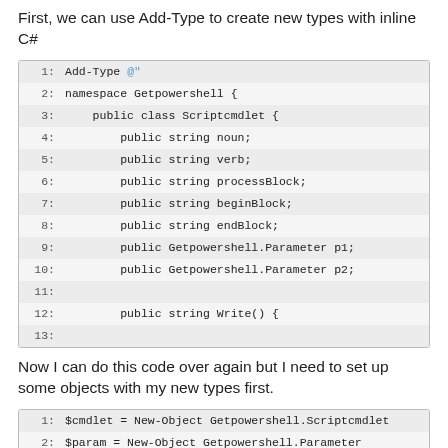First, we can use Add-Type to create new types with inline C#
[Figure (screenshot): Code block showing C# class definition with Add-Type, lines 1-13, using namespace Getpowershell with public class Scriptcmdlet containing string fields and a Write() method]
Now I can do this code over again but I need to set up some objects with my new types first.
[Figure (screenshot): Code block showing PowerShell lines 1-6+, creating new objects of Getpowershell.Scriptcmdlet and Getpowershell.Parameter, building up a parameter object with Name='File' and HelpMessage='Please Enter a file name']